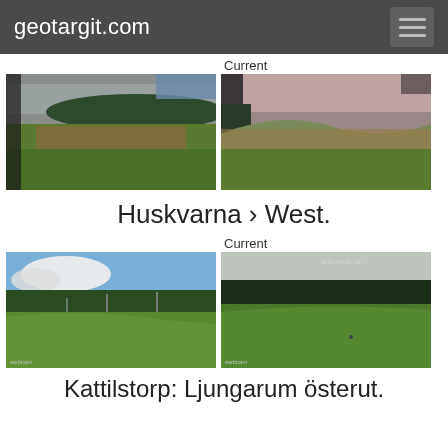geotargit.com
Current
[Figure (photo): Webcam image showing a green field with forest and water in background, viewed from elevated angle]
[Figure (photo): Webcam image showing a hillside with green grass and forest, current view]
Huskvarna › West.
Current
[Figure (photo): Webcam image showing a ski slope hill with trees, historical view]
[Figure (photo): Webcam image showing green ski slope hill with forest, current view]
Kattilstorp: Ljungarum österut.